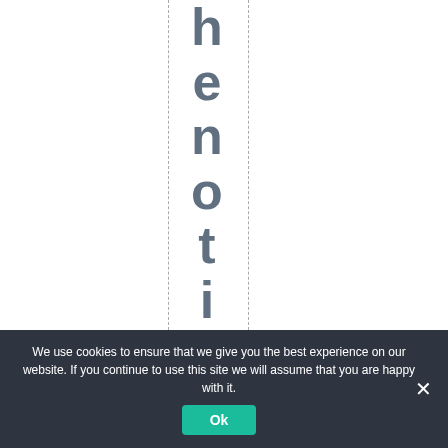[Figure (other): White background with two vertical dashed lines and large bold vertical text reading 'henotices a' with each letter stacked vertically, in a dark teal/slate color]
We use cookies to ensure that we give you the best experience on our website. If you continue to use this site we will assume that you are happy with it. Ok